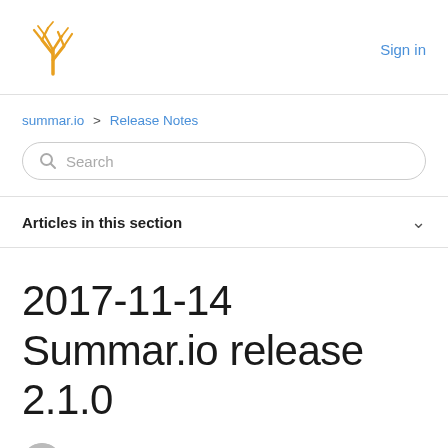Sign in
summar.io > Release Notes
Search
Articles in this section
2017-11-14 Summar.io release 2.1.0
Summar.io support